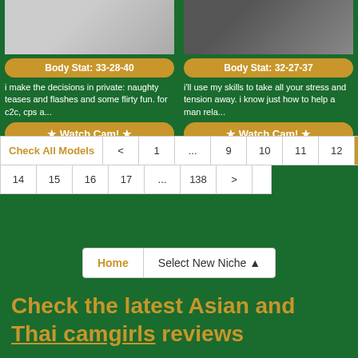[Figure (photo): Left card photo of a person on a bed, light background]
Body Stat: 33-28-40
i make the decisions in private: naughty teases and flashes and some flirty fun. for c2c, cps a...
★ Watch Cam! ★
[Figure (photo): Right card photo of a person on a dark sofa]
Body Stat: 32-27-37
i'll use my skills to take all your stress and tension away. i know just how to help a man rela...
★ Watch Cam! ★
| Check All Models | < | 1 | ... | 9 | 10 | 11 | 12 | 13 |
| 14 | 15 | 16 | 17 | ... | 138 | > |
Home   Select New Niche ▲
Check the latest Asian and Thai camgirls reviews